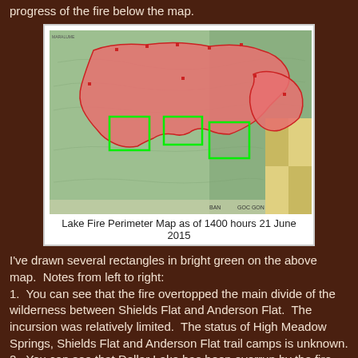progress of the fire below the map.
[Figure (map): Lake Fire Perimeter Map as of 1400 hours 21 June 2015. Shows a topographic map with a large red shaded area indicating the fire perimeter, with bright green rectangles drawn on the map highlighting specific areas along the fire's southern edge.]
Lake Fire Perimeter Map as of 1400 hours 21 June 2015
I've drawn several rectangles in bright green on the above map.  Notes from left to right:
1.  You can see that the fire overtopped the main divide of the wilderness between Shields Flat and Anderson Flat.  The incursion was relatively limited.  The status of High Meadow Springs, Shields Flat and Anderson Flat trail camps is unknown.
2.  You can see that Dollar Lake has been overrun by the fire, but it looks as though the fire did not cross the divide.
3.  It looks like Lodgepole and Trail Flats Camps were